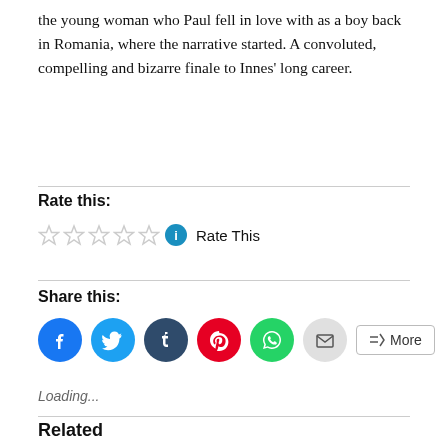the young woman who Paul fell in love with as a boy back in Romania, where the narrative started. A convoluted, compelling and bizarre finale to Innes' long career.
Rate this:
[Figure (other): Five empty star rating icons followed by a blue info button and 'Rate This' text]
Share this:
[Figure (other): Social share buttons: Facebook (blue), Twitter (light blue), Tumblr (dark blue), Pinterest (red), WhatsApp (green), Email (grey), and a More button]
Loading...
Related